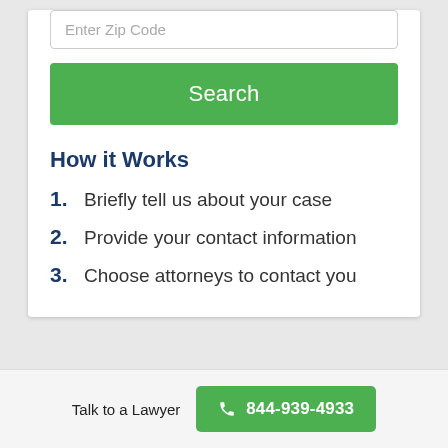Enter Zip Code
Search
How it Works
1. Briefly tell us about your case
2. Provide your contact information
3. Choose attorneys to contact you
Talk to a Lawyer  844-939-4933